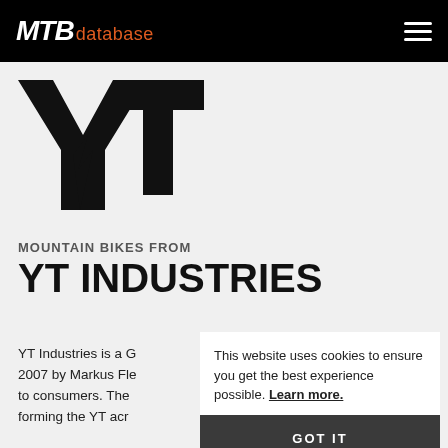MTB database
[Figure (logo): YT Industries logo — stylized YT letters in black with a lightning bolt]
MOUNTAIN BIKES FROM
YT INDUSTRIES
YT Industries is a G… 2007 by Markus Fl… to consumers. The forming the YT acr…
This website uses cookies to ensure you get the best experience possible. Learn more. GOT IT